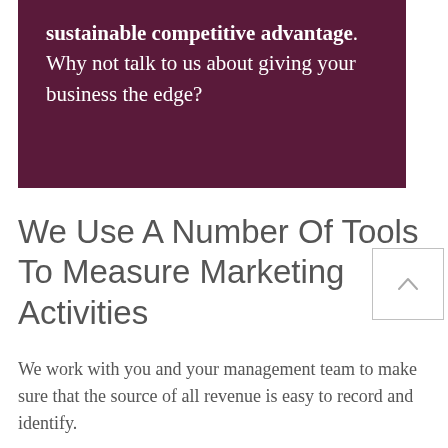sustainable competitive advantage. Why not talk to us about giving your business the edge?
We Use A Number Of Tools To Measure Marketing Activities
We work with you and your management team to make sure that the source of all revenue is easy to record and identify.
Understanding the profitability of